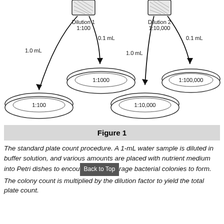[Figure (schematic): Diagram of the standard plate count procedure showing two serial dilutions. Left side: Dilution 1 (1:100) bottle with arrows showing 1.0 mL going to a 1:100 petri dish and 0.1 mL going to a 1:1000 petri dish. Right side: Dilution 2 (1:10,000) bottle with arrows showing 1.0 mL going to a 1:10,000 petri dish and 0.1 mL going to a 1:100,000 petri dish.]
Figure 1
The standard plate count procedure. A 1-mL water sample is diluted in buffer solution, and various amounts are placed with nutrient medium into Petri dishes to encourage bacterial colonies to form. The colony count is multiplied by the dilution factor to yield the total plate count.